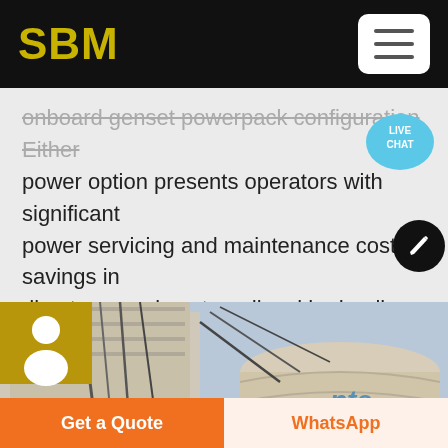SBM
onboard genset powerpack configuration Either power option presents operators with significant power servicing and maintenance cost savings in direct comparison to a diesel hydraulic powered
[Figure (photo): Industrial facility photo showing large cylindrical silos with metal pipes and cables, featuring Chinese text '中砂仓' on the silo]
Get a Quote
WhatsApp